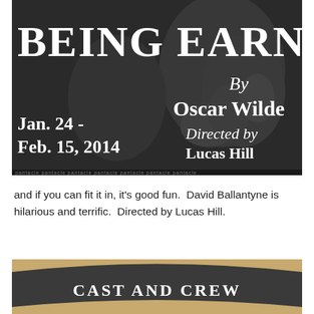[Figure (photo): Black and white theatrical poster for a play. Large white bold serif text reads 'BEING EARNEST' at top. Below on left: 'Jan. 24 - Feb. 15, 2014'. On right: 'By Oscar Wilde' and 'Directed by Lucas Hill'. Decorative illustrated background with figures. Bottom strip shows repeated text 'pantacle' in small print.]
and if you can fit it in, it's good fun.  David Ballantyne is hilarious and terrific.  Directed by Lucas Hill.
[Figure (photo): Partial photo of a curved dark sign or banner reading 'CAST AND CREW' in large white serif/caps text on a dark grey/charcoal background, placed on a wooden surface.]